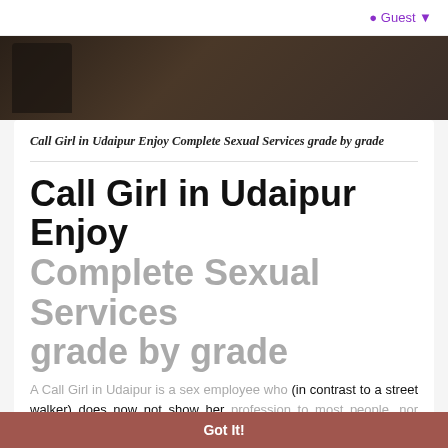Guest
[Figure (photo): Dark background photo strip showing a partial silhouette figure]
Call Girl in Udaipur Enjoy Complete Sexual Services grade by grade
Call Girl in Udaipur Enjoy Complete Sexual Services grade by grade
A Call Girl in Udaipur is a sex employee who (in contrast to a street walker) does now not show her profession to most people, nor does she typically work in an institution like a brothel, even though she may be employed through a call female in Udaipur